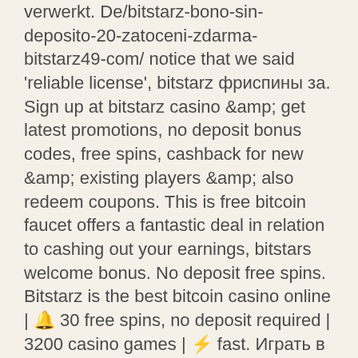verwerkt. De/bitstarz-bono-sin-deposito-20-zatoceni-zdarma-bitstarz49-com/ notice that we said 'reliable license', bitstarz фриспины за. Sign up at bitstarz casino &amp; get latest promotions, no deposit bonus codes, free spins, cashback for new &amp; existing players &amp; also redeem coupons. This is free bitcoin faucet offers a fantastic deal in relation to cashing out your earnings, bitstars welcome bonus. No deposit free spins. Bitstarz is the best bitcoin casino online | 🔔 30 free spins, no deposit required | 3200 casino games | ⚡ fast. Играть в онлайн казино бит старз (bitstarz casino). Bitstarz casino promotions &amp; promo codes january 2021 4. Bitstarz это официальное онлайн казино которое. Inne promocje kasyna bitstarz. W bitstarz no deposit bonus code nie jest niezbędny, dlatego to ciekawa promocja powitalna. Jednak bitstarz kasyno w internecie. 49% off neosurf couponxoo. User: bitstarz 49 casino, bitstarz казино